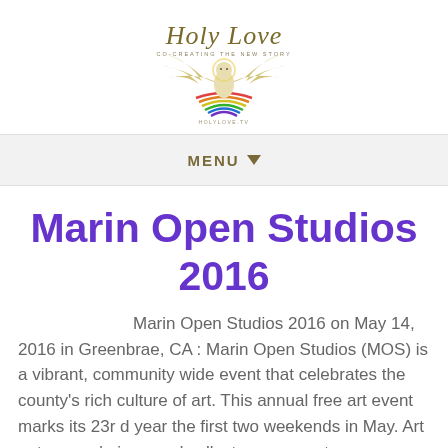[Figure (logo): HolyLove logo with stylized text 'Holy Love' in olive/gold script, subtitle 'CO-CREATING THE NEW STORY', and a colorful phoenix/eagle bird illustration with rainbow colors, website text 'HOLYLOVE.TV' below]
MENU ▼
Marin Open Studios 2016
Marin Open Studios 2016 on May 14, 2016 in Greenbrae, CA : Marin Open Studios (MOS) is a vibrant, community wide event that celebrates the county's rich culture of art. This annual free art event marks its 23r d year the first two weekends in May. Art patrons, admirers and collectors can venture